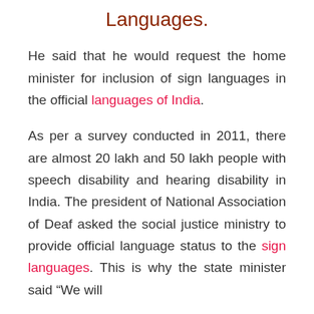Languages.
He said that he would request the home minister for inclusion of sign languages in the official languages of India.
As per a survey conducted in 2011, there are almost 20 lakh and 50 lakh people with speech disability and hearing disability in India. The president of National Association of Deaf asked the social justice ministry to provide official language status to the sign languages. This is why the state minister said “We will